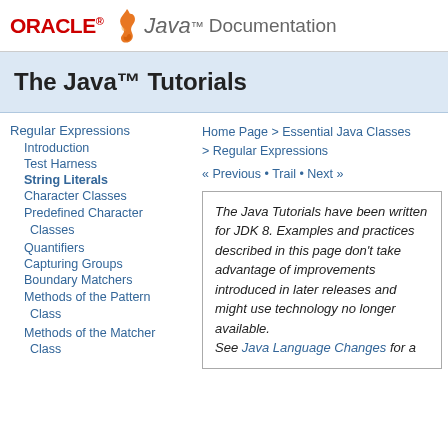ORACLE® Java™ Documentation
The Java™ Tutorials
Regular Expressions
Introduction
Test Harness
String Literals
Character Classes
Predefined Character Classes
Quantifiers
Capturing Groups
Boundary Matchers
Methods of the Pattern Class
Methods of the Matcher Class
Home Page > Essential Java Classes > Regular Expressions
« Previous • Trail • Next »
The Java Tutorials have been written for JDK 8. Examples and practices described in this page don't take advantage of improvements introduced in later releases and might use technology no longer available. See Java Language Changes for a